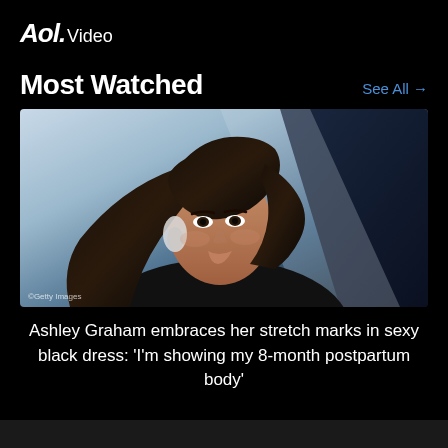Aol. Video
Most Watched
See All →
[Figure (photo): Portrait photo of Ashley Graham, a woman with long dark hair, wearing a black outfit and large diamond earrings, with a light blue and dark background. Getty Images watermark visible.]
Ashley Graham embraces her stretch marks in sexy black dress: 'I'm showing my 8-month postpartum body'